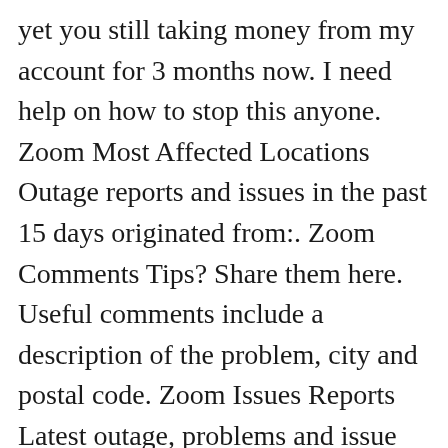yet you still taking money from my account for 3 months now. I need help on how to stop this anyone. Zoom Most Affected Locations Outage reports and issues in the past 15 days originated from:. Zoom Comments Tips? Share them here. Useful comments include a description of the problem, city and postal code. Zoom Issues Reports Latest outage, problems and issue reports in social media:.